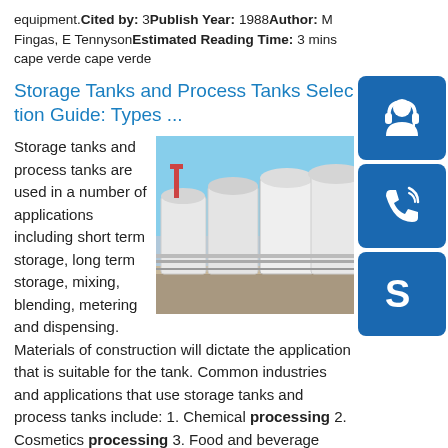equipment. Cited by: 3 Publish Year: 1988 Author: M Fingas, E Tennyson Estimated Reading Time: 3 mins cape verde cape verde
Storage Tanks and Process Tanks Selection Guide: Types ...
Storage tanks and process tanks are used in a number of applications including short term storage, long term storage, mixing, blending, metering and dispensing. Materials of construction will dictate the application that is suitable for the tank. Common industries and applications that use storage tanks and process tanks include: 1. Chemical processing 2. Cosmetics processing 3. Food and beverage processing 4. Oil and fuel processing 5. Paper and pulp processing 6. Pharmaceutical processing ... See more
[Figure (photo): Row of large white industrial storage tanks at a facility under a blue sky]
[Figure (illustration): Blue square button with white headset/support icon]
[Figure (illustration): Blue square button with white phone icon]
[Figure (illustration): Blue square button with white Skype logo icon]